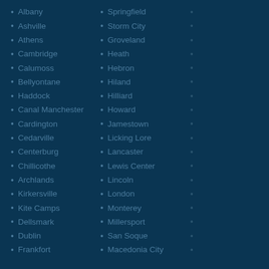Albany
Ashville
Athens
Cambridge
Calumoss
Bellyontane
Haddock
Canal Manchester
Cardington
Cedarville
Centerburg
Chillicothe
Archlands
Kirkersville
Kite Camps
Dellsmark
Dublin
Frankfort
Springfield
Storm City
Groveland
Heath
Hebron
Hiland
Hilliard
Howard
Jamestown
Licking Lore
Lancaster
Lewis Center
Lincoln
London
Monterey
Millersport
San Soque
Macedonia City